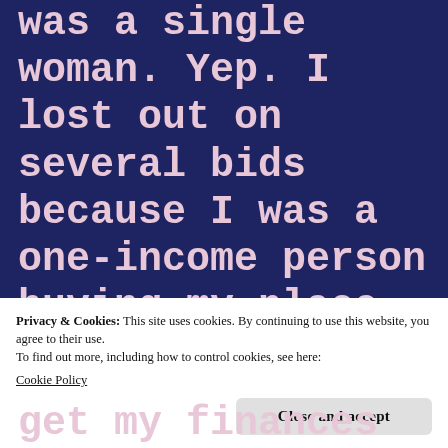was a single woman. Yep. I lost out on several bids because I was a one-income person buying my place.  I only ended up with my place because the divorcing couple whose bid was originally accepted
Privacy & Cookies: This site uses cookies. By continuing to use this website, you agree to their use.
To find out more, including how to control cookies, see here:
Cookie Policy
Close and accept
get my finances in order